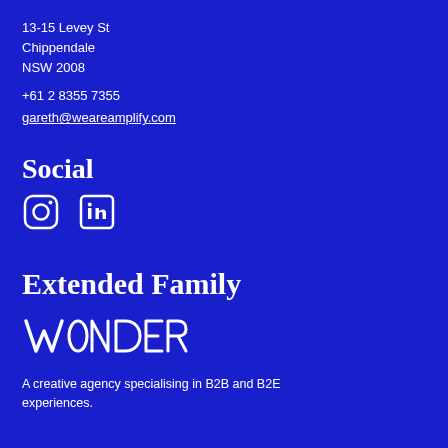13-15 Levey St
Chippendale
NSW 2008
+61 2 8355 7355
gareth@weareamplify.com
Social
[Figure (illustration): Instagram and LinkedIn social media icons in white outline style on blue background]
Extended Family
WONDER
A creative agency specialising in B2B and B2E experiences.